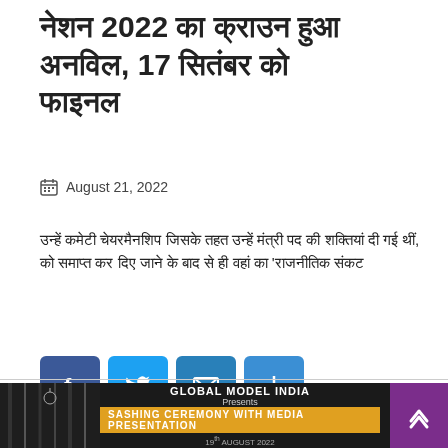नेशन 2022 का क्राउन हुआ अनविल, 17 सितंबर को फाइनल
August 21, 2022
उन्हें कमेटी चेयरमैनशिप जिसके तहत उन्हें मंत्री पद की शक्तियां दी गई थीं, को समाप्त कर दिए जाने के बाद से ही वहां का 'राजनीतिक संकट
[Figure (infographic): Social share buttons: Facebook (blue f), Twitter (blue bird), Email (blue envelope), Share (blue plus). Below them a Read More italic link.]
[Figure (photo): Bottom banner image showing a dark event backdrop with text: GLOBAL MODEL INDIA Presents SASHING CEREMONY WITH MEDIA PRESENTATION, with gold/bronze emblem logos on either side, and a purple scroll-to-top button on the right.]